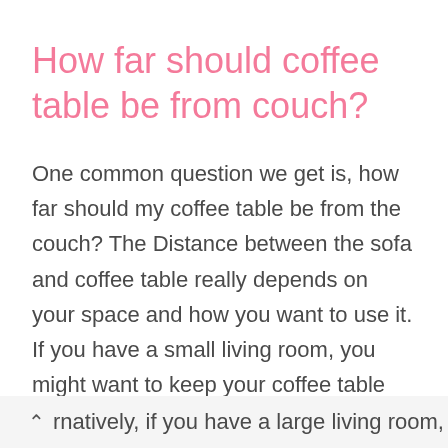How far should coffee table be from couch?
One common question we get is, how far should my coffee table be from the couch? The Distance between the sofa and coffee table really depends on your space and how you want to use it. If you have a small living room, you might want to keep your coffee table close to the couch so that it’s easy to reach.
rnatively, if you have a large living room,